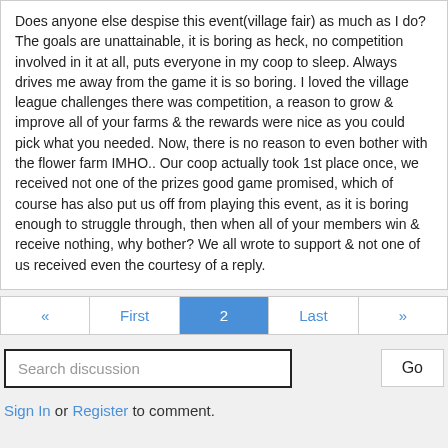Does anyone else despise this event(village fair) as much as I do?  The goals are unattainable, it is boring as heck, no competition involved in it at all, puts everyone in my coop to sleep.  Always drives me away from the game it is so boring.  I loved the village league challenges  there was competition, a reason to grow & improve all of your farms  & the rewards were nice as you could pick what you needed.  Now, there is no reason to even bother with the flower farm IMHO..  Our coop actually took 1st place once,  we received not one of the prizes good game promised, which of course has also put us off from playing this event, as it is boring enough to struggle through, then when all of your members win & receive nothing, why bother?  We all wrote to support & not one of us received even the courtesy of a reply.
« First 2 Last »
Search discussion
Go
Sign In or Register to comment.